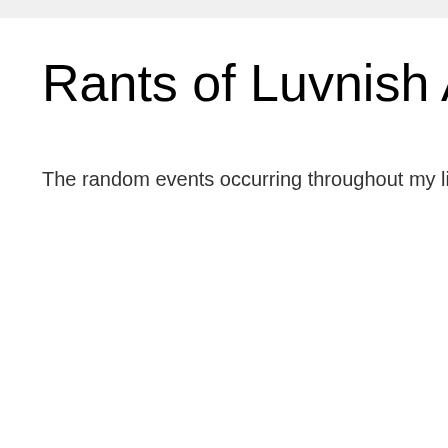Rants of Luvnish A.T
The random events occurring throughout my life, jo